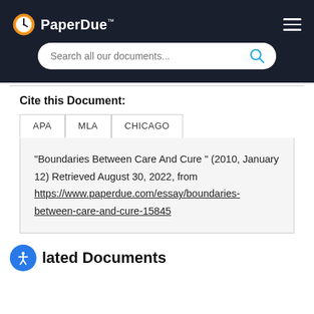PaperDue™ — Search all our documents...
Cite this Document:
"Boundaries Between Care And Cure " (2010, January 12) Retrieved August 30, 2022, from https://www.paperdue.com/essay/boundaries-between-care-and-cure-15845
Related Documents